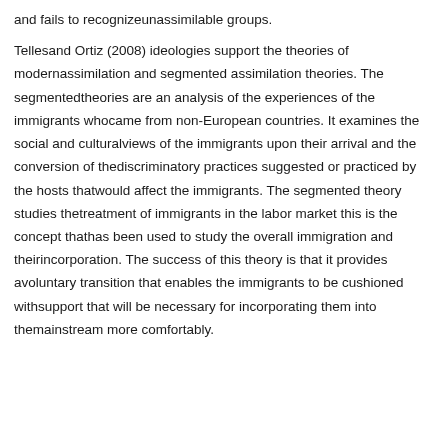and fails to recognizeunassimilable groups.
Tellesand Ortiz (2008) ideologies support the theories of modernassimilation and segmented assimilation theories. The segmentedtheories are an analysis of the experiences of the immigrants whocame from non-European countries. It examines the social and culturalviews of the immigrants upon their arrival and the conversion of thediscriminatory practices suggested or practiced by the hosts thatwould affect the immigrants. The segmented theory studies thetreatment of immigrants in the labor market this is the concept thathas been used to study the overall immigration and theirincorporation. The success of this theory is that it provides avoluntary transition that enables the immigrants to be cushioned withsupport that will be necessary for incorporating them into themainstream more comfortably.